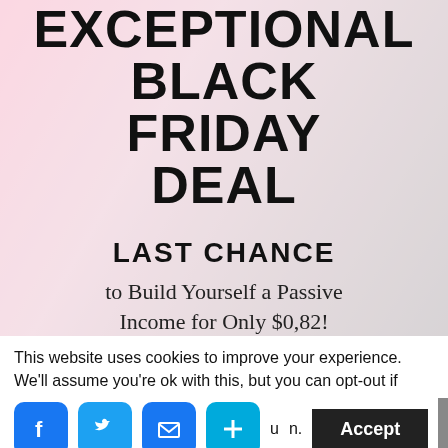[Figure (illustration): Promotional banner image showing a woman holding a smartphone against a pink background, with overlaid text advertising an Exceptional Black Friday Deal]
EXCEPTIONAL BLACK FRIDAY DEAL
LAST CHANCE
to Build Yourself a Passive Income for Only $0,82!
This website uses cookies to improve your experience. We'll assume you're ok with this, but you can opt-out if